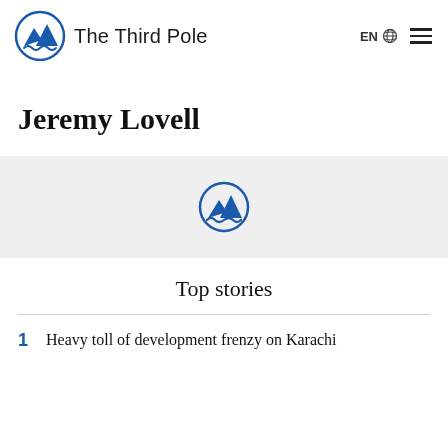The Third Pole
Jeremy Lovell
[Figure (logo): The Third Pole circular logo icon — blue mountains and hand symbol in a circle]
Top stories
1. Heavy toll of development frenzy on Karachi